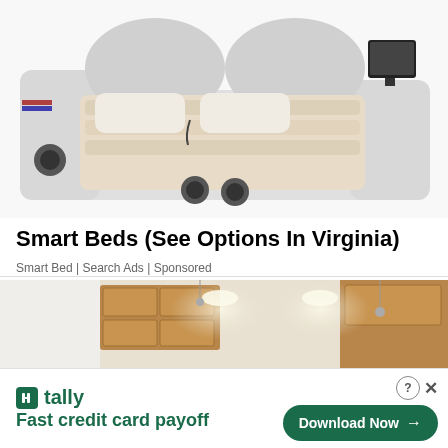[Figure (photo): A modern white smart bed with built-in speakers, a tablet/TV mount on the right side, and side storage compartments. The bed has a leather upholstered frame with multiple features integrated into it.]
Smart Beds (See Options In Virginia)
Smart Bed | Search Ads | Sponsored
[Figure (photo): Interior room photo showing wooden kitchen/room cabinetry and a white ceiling with recessed lighting.]
[Figure (logo): Tally app advertisement banner. Tally logo with green icon. Text reads: Fast credit card payoff. Download Now button with arrow on the right. Close (X) and question mark (?) buttons in the top right corner.]